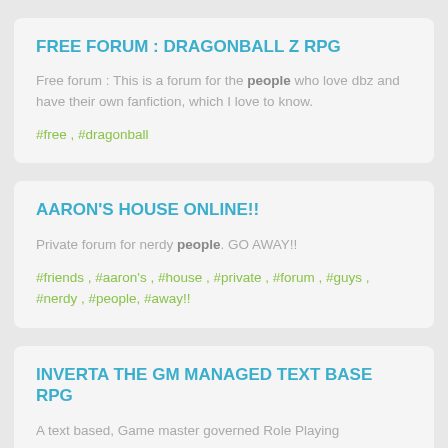FREE FORUM : DRAGONBALL Z RPG
Free forum : This is a forum for the people who love dbz and have their own fanfiction, which I love to know.
#free , #dragonball
AARON'S HOUSE ONLINE!!
Private forum for nerdy people. GO AWAY!!
#friends , #aaron's , #house , #private , #forum , #guys , #nerdy , #people, #away!!
INVERTA THE GM MANAGED TEXT BASE RPG
A text based, Game master governed Role Playing